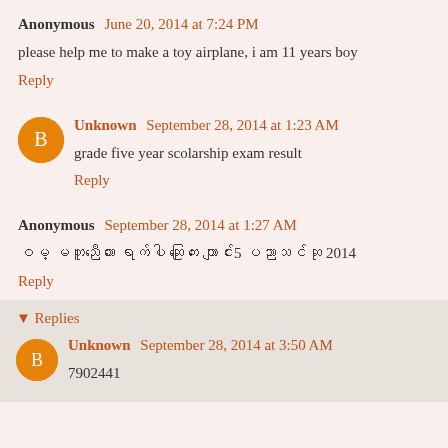Anonymous June 20, 2014 at 7:24 PM
please help me to make a toy airplane, i am 11 years boy
Reply
Unknown September 28, 2014 at 1:23 AM
grade five year scolarship exam result
Reply
Anonymous September 28, 2014 at 1:27 AM
ဝမ္ မတူညီသော ရောက်ပါ ဆုကြေး ကျောင်း5 ပညာသင်ဆု 2014
Reply
Replies
Unknown September 28, 2014 at 3:50 AM
7902441